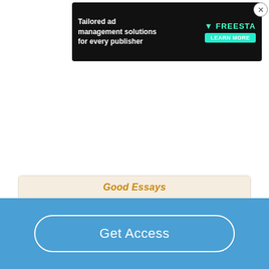[Figure (screenshot): Advertisement banner: 'Tailored ad management solutions for every publisher' with FREESTA logo and LEARN MORE button]
Neil Armstrong Contributions
Good Essays
755 Words
4 Pages
Get Access